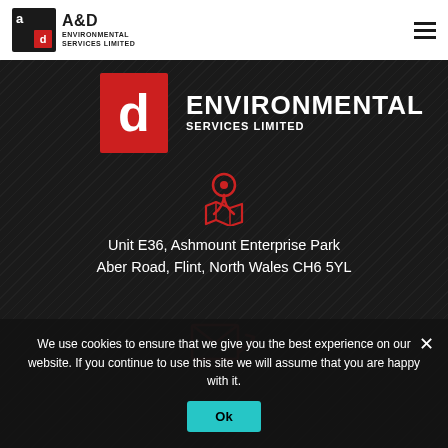[Figure (logo): A&D Environmental Services Limited logo in navbar]
[Figure (logo): Large A&D Environmental Services Limited logo on dark background]
[Figure (illustration): Red location/map pin icon on dark background]
Unit E36, Ashmount Enterprise Park
Aber Road, Flint, North Wales CH6 5YL
[Figure (illustration): Red email/envelope with arrow icon on dark background]
We use cookies to ensure that we give you the best experience on our website. If you continue to use this site we will assume that you are happy with it.